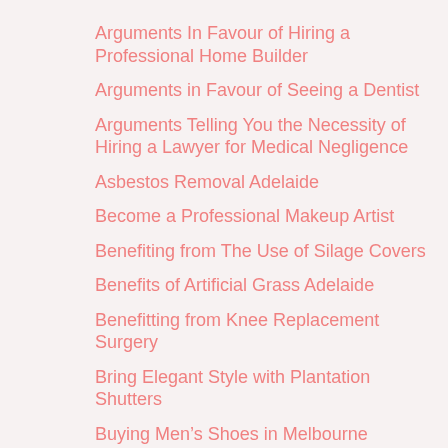Arguments In Favour of Hiring a Professional Home Builder
Arguments in Favour of Seeing a Dentist
Arguments Telling You the Necessity of Hiring a Lawyer for Medical Negligence
Asbestos Removal Adelaide
Become a Professional Makeup Artist
Benefiting from The Use of Silage Covers
Benefits of Artificial Grass Adelaide
Benefitting from Knee Replacement Surgery
Bring Elegant Style with Plantation Shutters
Buying Men’s Shoes in Melbourne
Buying Sports Leggings: Doing it the Right Way
Calculating Your Landscaper Adelaide Cost